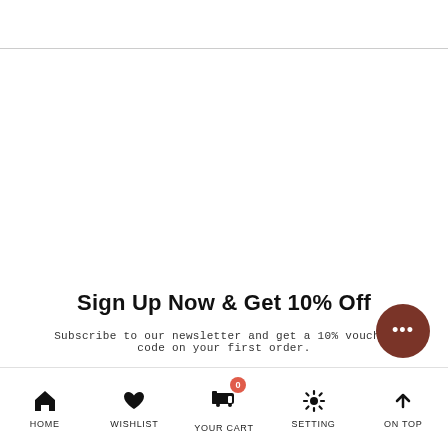Sign Up Now & Get 10% Off
Subscribe to our newsletter and get a 10% voucher code on your first order.
HOME   WISHLIST   YOUR CART   SETTING   ON TOP